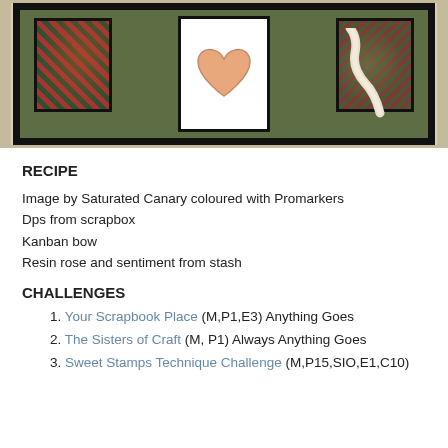[Figure (photo): Craft card photograph showing a framed collage with a central white card depicting a heart shape, flanked by decorative patterned cards in red/green paisley patterns, set against a green background with a black frame, and a ribbon cascading to the right]
RECIPE
Image by Saturated Canary coloured with Promarkers
Dps from scrapbox
Kanban bow
Resin rose and sentiment from stash
CHALLENGES
1. Your Scrapbook Place (M,P1,E3) Anything Goes
2. The Sisters of Craft (M, P1) Always Anything Goes
3. Sweet Stamps Technique Challenge (M,P15,SIO,E1,C10)